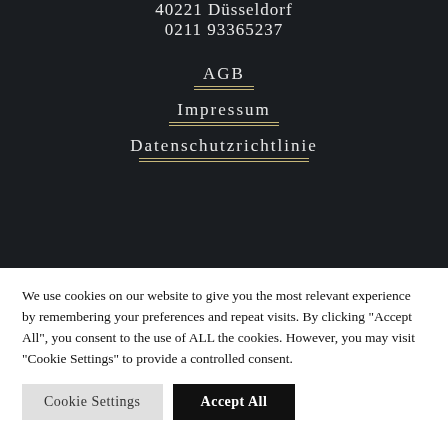40221 Düsseldorf
0211 93365237
AGB
Impressum
Datenschutzrichtlinie
We use cookies on our website to give you the most relevant experience by remembering your preferences and repeat visits. By clicking "Accept All", you consent to the use of ALL the cookies. However, you may visit "Cookie Settings" to provide a controlled consent.
Cookie Settings
Accept All